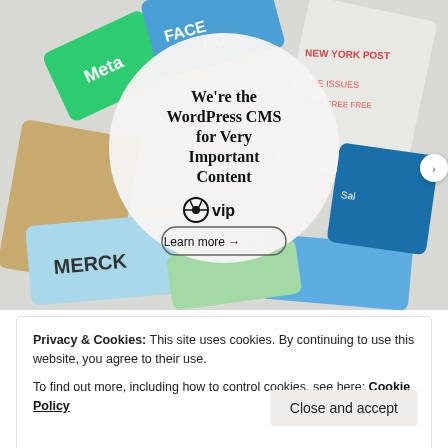[Figure (illustration): WordPress VIP advertisement banner showing scattered brand cards (Meta, Facebook, New York Post, Merck, Salesforce, etc.) in the background with a central white circle containing the text 'We're the WordPress CMS for Very Important Content', WordPress VIP logo, and a 'Learn more →' button.]
Privacy & Cookies: This site uses cookies. By continuing to use this website, you agree to their use.
To find out more, including how to control cookies, see here: Cookie Policy
Close and accept